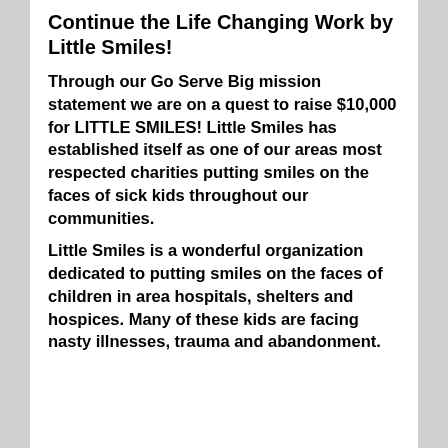Continue the Life Changing Work by Little Smiles!
Through our Go Serve Big mission statement we are on a quest to raise $10,000 for LITTLE SMILES! Little Smiles has established itself as one of our areas most respected charities putting smiles on the faces of sick kids throughout our communities.
Little Smiles is a wonderful organization dedicated to putting smiles on the faces of children in area hospitals, shelters and hospices. Many of these kids are facing nasty illnesses, trauma and abandonment.